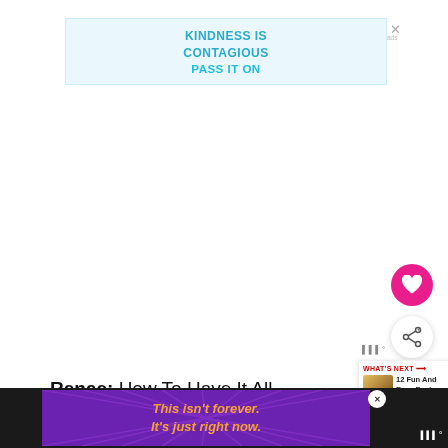[Figure (screenshot): Top banner advertisement with light blue background reading KINDNESS IS CONTAGIOUS / PASS IT ON in teal/cyan text, with a close X button]
[Figure (screenshot): Pink circular heart/favorite button on right side]
[Figure (screenshot): White circular share button with share icon on right side]
[Figure (screenshot): What's Next panel showing '12 Fun And Easy Easter...' with thumbnail]
Renae: How To Have It All
[Figure (screenshot): Bottom banner advertisement with purple sunburst background and orange italic text reading 'This isn't forever. It's just right now.']